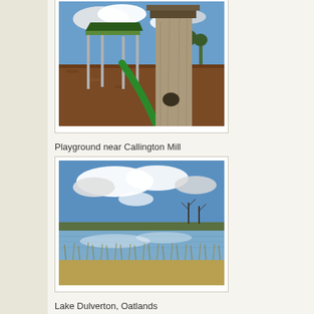[Figure (photo): Playground near Callington Mill showing green slide structure and large carved tree stump with bark chips on the ground, blue sky with clouds in background]
Playground near Callington Mill
[Figure (photo): Lake Dulverton, Oatlands - wide view of a lake with dry grasses in foreground, blue sky with white clouds reflected in water, bare trees visible in background]
Lake Dulverton, Oatlands
Sonia and I really enjoyed the Callington Mill tour. Me with all the information, history, and seeing how it all worked (I'd grown up grin... our own wheat with a home made electric stone grinder), and Sonia w...